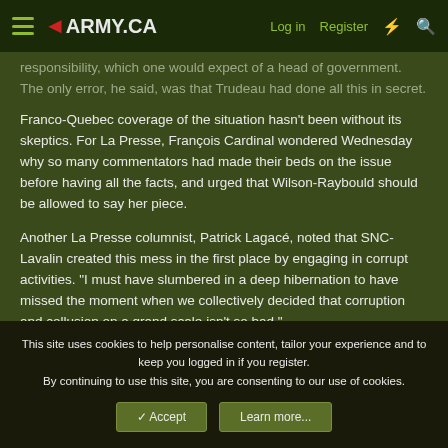≡ ◄ARMY.CA   Log in   Register   ⚡   🔍
responsibility, which one would expect of a head of government. The only error, he said, was that Trudeau had done all this in secret.
Franco-Quebec coverage of the situation hasn't been without its skeptics. For La Presse, François Cardinal wondered Wednesday why so many commentators had made their beds on the issue before having all the facts, and urged that Wilson-Raybould should be allowed to say her piece.
Another La Presse columnist, Patrick Lagacé, noted that SNC-Lavalin created this mess in the first place by engaging in corrupt activities. "I must have slumbered in a deep hibernation to have missed the moment when we collectively decided that corruption and collusion on a grand scale isn't so bad,"
This site uses cookies to help personalise content, tailor your experience and to keep you logged in if you register.
By continuing to use this site, you are consenting to our use of cookies.
✓ Accept   Learn more...